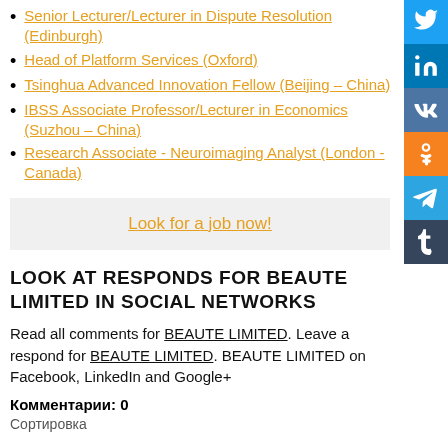Senior Lecturer/Lecturer in Dispute Resolution (Edinburgh)
Head of Platform Services (Oxford)
Tsinghua Advanced Innovation Fellow (Beijing – China)
IBSS Associate Professor/Lecturer in Economics (Suzhou – China)
Research Associate - Neuroimaging Analyst (London - Canada)
Look for a job now!
LOOK AT RESPONDS FOR BEAUTE LIMITED IN SOCIAL NETWORKS
Read all comments for BEAUTE LIMITED. Leave a respond for BEAUTE LIMITED. BEAUTE LIMITED on Facebook, LinkedIn and Google+
Комментарии: 0
Сортировка